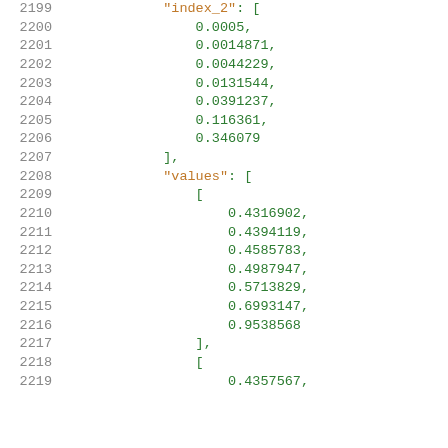Code listing showing JSON data structure with index_2 and values arrays, lines 2199-2219
2199    "index_2": [
2200        0.0005,
2201        0.0014871,
2202        0.0044229,
2203        0.0131544,
2204        0.0391237,
2205        0.116361,
2206        0.346079
2207    ],
2208    "values": [
2209        [
2210            0.4316902,
2211            0.4394119,
2212            0.4585783,
2213            0.4987947,
2214            0.5713829,
2215            0.6993147,
2216            0.9538568
2217        ],
2218        [
2219            0.4357567,